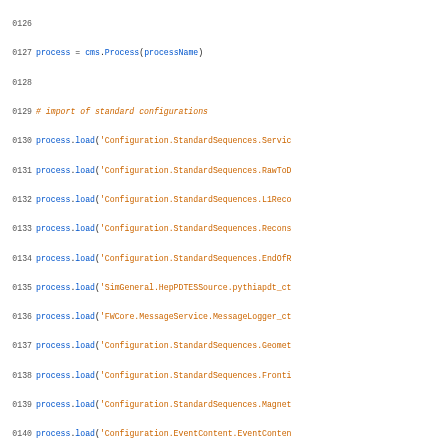[Figure (screenshot): Python/CMS configuration code with syntax highlighting. Line numbers 126-156 visible. Shows process loading statements for CMS (Compact Muon Solenoid) detector software configuration, including StandardSequences, Calibration, EcalAlCaRecoProducers, and conditional loading based on CMSSW version.]